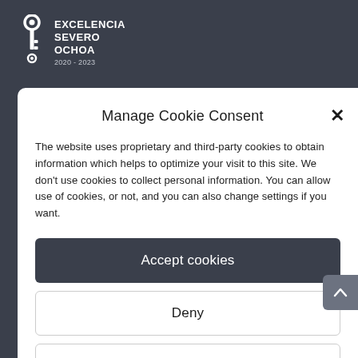[Figure (logo): Excelencia Severo Ochoa 2020-2023 logo with key icon on dark background]
Manage Cookie Consent
The website uses proprietary and third-party cookies to obtain information which helps to optimize your visit to this site. We don't use cookies to collect personal information. You can allow use of cookies, or not, and you can also change settings if you want.
Accept cookies
Deny
View preferences
Cookie Policy   Privacy / Legal Notice